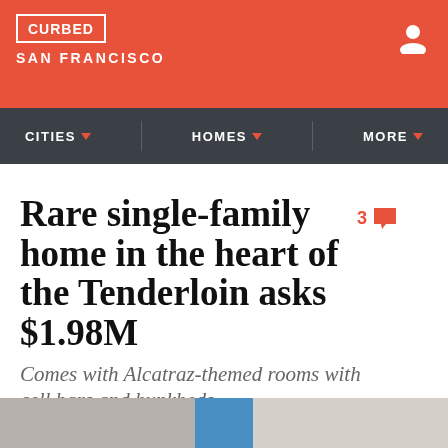CURBED SAN FRANCISCO
CITIES | HOMES | MORE
3 comments
Rare single-family home in the heart of the Tenderloin asks $1.98M
Comes with Alcatraz-themed rooms with cell bars and bunkbeds
By Brock Keeling | @BrockKeeling | May 6, 2019, 12:56pm PDT | 3 comments
[Figure (photo): Bottom strip of a photo showing interior of building]